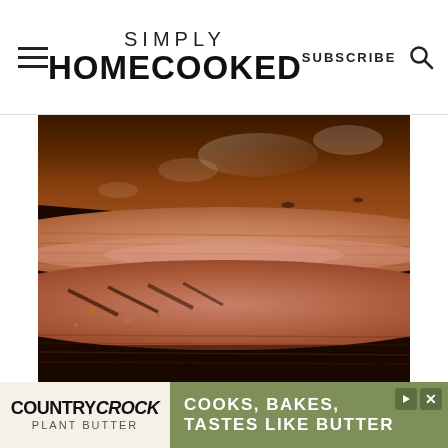SIMPLY HOMECOOKED  SUBSCRIBE
[Figure (photo): Close-up photo of sliced grilled/smoked beef brisket with a charred crust, showing juicy meat texture with grill marks]
[Figure (infographic): Advertisement banner for Country Crock Plant Butter with tagline: COOKS, BAKES, TASTES LIKE BUTTER]